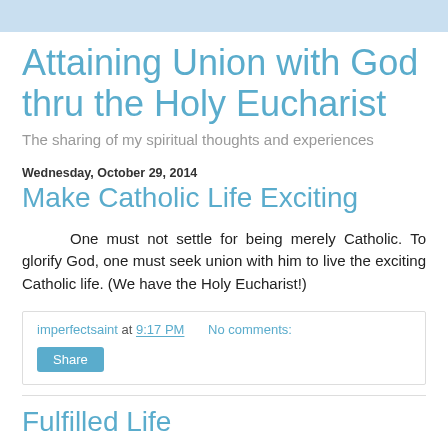Attaining Union with God thru the Holy Eucharist
The sharing of my spiritual thoughts and experiences
Wednesday, October 29, 2014
Make Catholic Life Exciting
One must not settle for being merely Catholic. To glorify God, one must seek union with him to live the exciting Catholic life. (We have the Holy Eucharist!)
imperfectsaint at 9:17 PM   No comments:
Share
Fulfilled Life